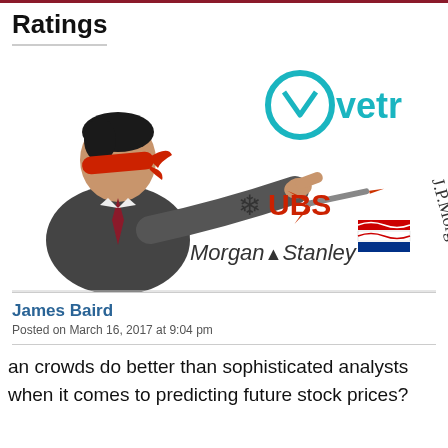Ratings
[Figure (illustration): A blindfolded businessman in a suit throwing a dart, with financial institution logos (Vetr, UBS, Morgan Stanley, J.P. Morgan, Bank of America) scattered around him as targets.]
James Baird
Posted on March 16, 2017 at 9:04 pm
an crowds do better than sophisticated analysts when it comes to predicting future stock prices?